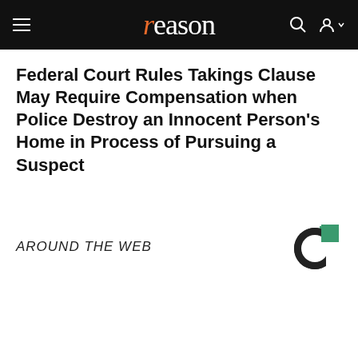reason
Federal Court Rules Takings Clause May Require Compensation when Police Destroy an Innocent Person's Home in Process of Pursuing a Suspect
AROUND THE WEB
[Figure (logo): Taboola logo — circular C shape with green square cutout in upper right]